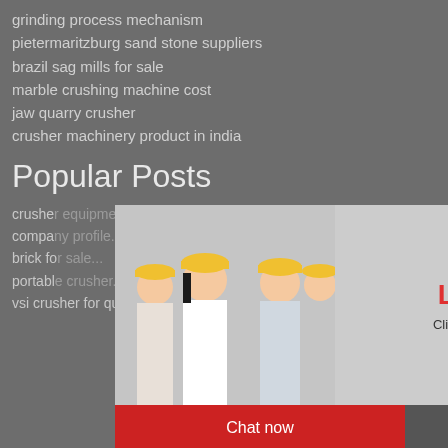grinding process mechanism
pietermaritzburg sand stone suppliers
brazil sag mills for sale
marble crushing machine cost
jaw quarry crusher
crusher machinery product in india
Popular Posts
crusher...
compa...
brick fo...
portabl...
vsi crusher for quartz
[Figure (screenshot): Live chat popup overlay with workers in hard hats image, red LIVE CHAT title, 'Click for a Free Consultation' text, 'Chat now' red button and 'Chat later' dark button]
[Figure (screenshot): Right sidebar widget on blue background showing 'hour online', crusher machine image, 'Click me to chat>>' button, 'Enquiry' heading, and 'limingjlmofen' text]